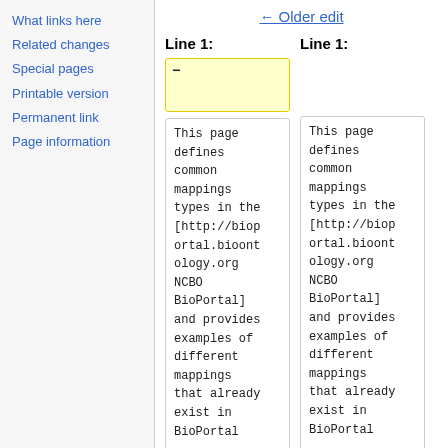What links here
Related changes
Special pages
Printable version
Permanent link
Page information
← Older edit
Line 1:
Line 1:
This page defines common mappings types in the [http://bioportal.bioontology.org NCBO BioPortal] and provides examples of different mappings that already exist in BioPortal
This page defines common mappings types in the [http://bioportal.bioontology.org NCBO BioPortal] and provides examples of different mappings that already exist in BioPortal